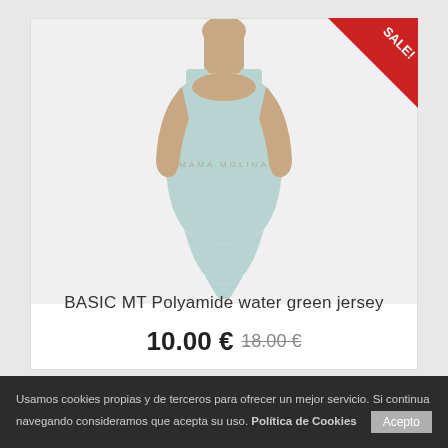[Figure (photo): A mannequin wearing a light blue/water green sleeveless bodysuit/jersey on a white product card. A red SALE! triangle badge is in the top-right corner of the card.]
BASIC MT Polyamide water green jersey
10.00 € 18.00 €
Usamos cookies propias y de terceros para ofrecer un mejor servicio. Si continua navegando consideramos que acepta su uso. Política de Cookies  Acepto